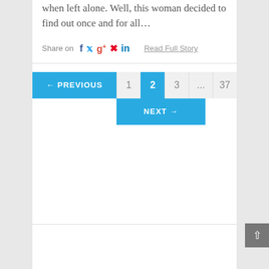when left alone. Well, this woman decided to find out once and for all…
Share on  f  t  g+  p  in    Read Full Story
[Figure (screenshot): Pagination navigation with ← PREVIOUS button, page numbers 1, 2 (active/highlighted), 3, ..., 37, and NEXT → button, all in blue and gray styling]